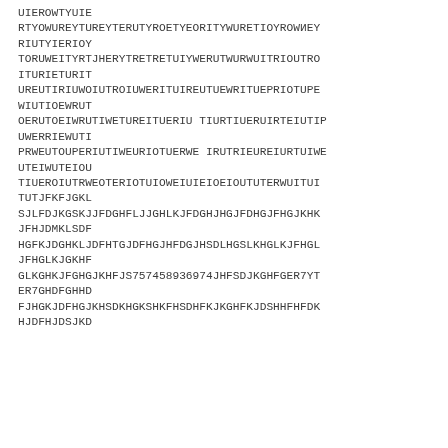UIEROWTYUIE
RTYOWUREYTUREYTERUTYROETYEORITYWURETIOYROWIEY
RIUTYIERIOY
TORUWEITYRTJHERYTRETRETUIYWERUTWURWUITRIOUTRO
ITURIETURIT
UREUTIRIUWOIUTROIUWERITUIREUTUEWRITUEPRIOTUPE
WIUTIOEWRUT
OERUTOEIWRUTIWETUREITUERIUTIURTIUERUIRTEIUTIP
UWERRIEWUTI
PRWEUTOUPERIUTIWEURIOTUERWEIRUTRIEUREIURTUIWE
UTEIWUTEIOU
TIUEROIUTRWEOTERIOTUIOWEIUIEIOEIOUTUIERWUITUI
TUTJFKFJGKL
SJLFDJKGSKJJFDGHFLJJGHLKJFDGHJHGJFDHGJFHGJKHK
JFHJDMKLSDF
HGFKJDGHKLJDFHTGJDFHGJHFDGJHSDLHGSLKHGLKJFHGL
JFHGLKJGKHF
GLKGHKJFGHGJKHFJS757458936974JHFSDJKGHFGER7YT
ER7GHDFGHHD
FJHGKJDFHGJKHSDKHGKSHKFHSDHFKJKGHFKJDSHHFHFDK
HJDFHJDSJKD